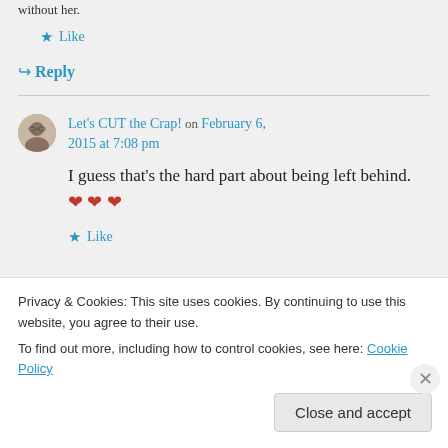without her.
★ Like
↪ Reply
Let's CUT the Crap! on February 6, 2015 at 7:08 pm
I guess that's the hard part about being left behind. ❤ ❤ ❤
★ Like
Privacy & Cookies: This site uses cookies. By continuing to use this website, you agree to their use. To find out more, including how to control cookies, see here: Cookie Policy
Close and accept